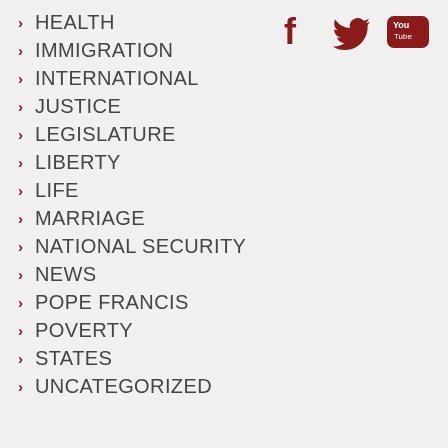HEALTH
IMMIGRATION
INTERNATIONAL
JUSTICE
LEGISLATURE
LIBERTY
LIFE
MARRIAGE
NATIONAL SECURITY
NEWS
POPE FRANCIS
POVERTY
STATES
UNCATEGORIZED
[Figure (other): Social media icons: Facebook, Twitter, YouTube in red]